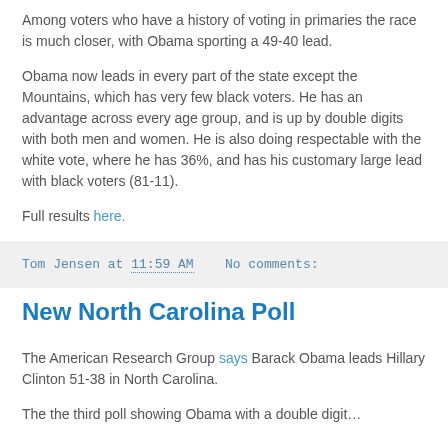Among voters who have a history of voting in primaries the race is much closer, with Obama sporting a 49-40 lead.
Obama now leads in every part of the state except the Mountains, which has very few black voters. He has an advantage across every age group, and is up by double digits with both men and women. He is also doing respectable with the white vote, where he has 36%, and has his customary large lead with black voters (81-11).
Full results here.
Tom Jensen at 11:59 AM   No comments:
New North Carolina Poll
The American Research Group says Barack Obama leads Hillary Clinton 51-38 in North Carolina.
The the third poll showing Obama with a double digit...